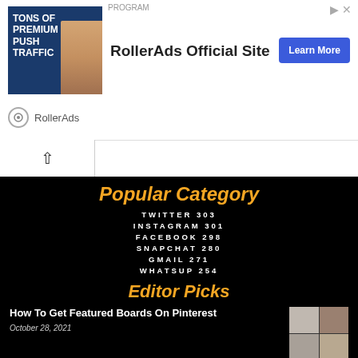[Figure (infographic): RollerAds advertisement banner with woman image and 'TONS OF PREMIUM PUSH TRAFFIC' text, 'RollerAds Official Site' headline, and 'Learn More' button]
Popular Category
TWITTER 303
INSTAGRAM 301
FACEBOOK 298
SNAPCHAT 280
GMAIL 271
WHATSUP 254
Editor Picks
How To Get Featured Boards On Pinterest
October 28, 2021